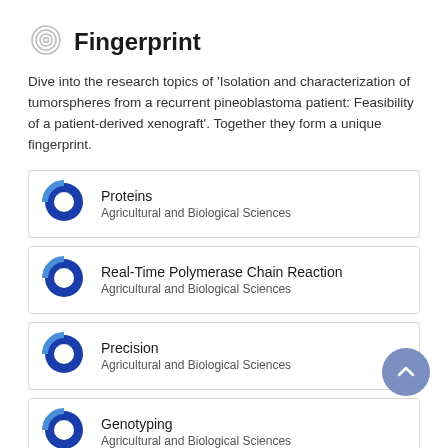Fingerprint
Dive into the research topics of 'Isolation and characterization of tumorspheres from a recurrent pineoblastoma patient: Feasibility of a patient-derived xenograft'. Together they form a unique fingerprint.
Proteins
Agricultural and Biological Sciences
Real-Time Polymerase Chain Reaction
Agricultural and Biological Sciences
Precision
Agricultural and Biological Sciences
Genotyping
Agricultural and Biological Sciences